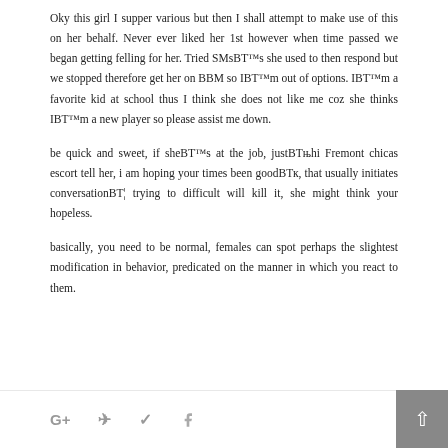Oky this girl I supper various but then I shall attempt to make use of this on her behalf. Never ever liked her 1st however when time passed we began getting felling for her. Tried SMsBТ™s she used to then respond but we stopped therefore get her on BBM so IBТ™m out of options. IBТ™m a favorite kid at school thus I think she does not like me coz she thinks IBТ™m a new player so please assist me down.
be quick and sweet, if sheBТ™s at the job, justBТњhi Fremont chicas escort tell her, i am hoping your times been goodBТк, that usually initiates conversationBТ¦ trying to difficult will kill it, she might think your hopeless.
basically, you need to be normal, females can spot perhaps the slightest modification in behavior, predicated on the manner in which you react to them.
[Figure (other): Social sharing icons bar with Google+, Telegram, Twitter, Facebook icons and a back-to-top button]